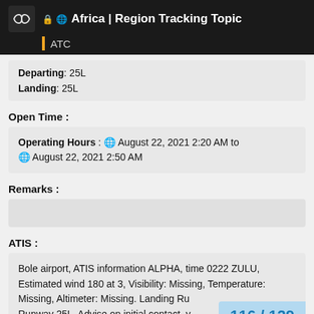Africa | Region Tracking Topic — ATC
Departing: 25L
Landing: 25L
Open Time :
Operating Hours : August 22, 2021 2:20 AM to August 22, 2021 2:50 AM
Remarks :
ATIS :
Bole airport, ATIS information ALPHA, time 0222 ZULU, Estimated wind 180 at 3, Visibility: Missing, Temperature: Missing, Altimeter: Missing. Landing Ru... Runway 25L. Advise on initial contact, y...
116 / 129